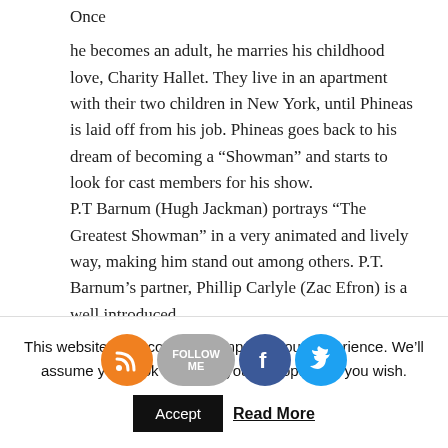Once he becomes an adult, he marries his childhood love, Charity Hallet. They live in an apartment with their two children in New York, until Phineas is laid off from his job. Phineas goes back to his dream of becoming a “Showman” and starts to look for cast members for his show. P.T Barnum (Hugh Jackman) portrays “The Greatest Showman” in a very animated and lively way, making him stand out among others. P.T. Barnum’s partner, Phillip Carlyle (Zac Efron) is a well introduced
This website uses cookies to improve your experience. We’ll assume you’re ok with this, you can opt-out if you wish.